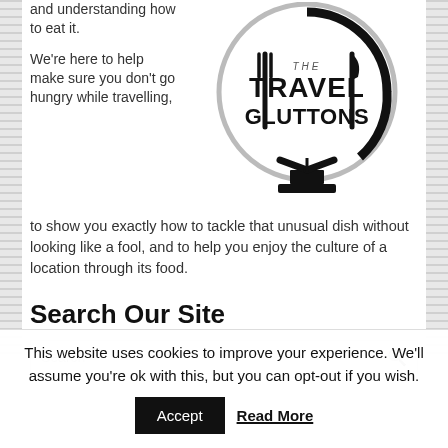and understanding how to eat it.
[Figure (logo): Travel Gluttons logo — a globe with a fork and knife, text reading 'TRAVEL GLUTTONS']
We're here to help make sure you don't go hungry while travelling, to show you exactly how to tackle that unusual dish without looking like a fool, and to help you enjoy the culture of a location through its food.
Search Our Site
Search
This website uses cookies to improve your experience. We'll assume you're ok with this, but you can opt-out if you wish.
Accept
Read More